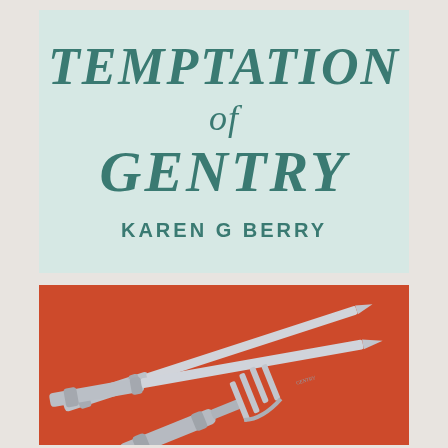[Figure (illustration): Book cover top half: light mint/pale blue-green background with title 'TEMPTATION of GENTRY' in teal italic serif font and author name 'KAREN G BERRY' in teal bold sans-serif capitals]
TEMPTATION of GENTRY
KAREN G BERRY
[Figure (photo): Book cover bottom half: orange/coral red background with silver cutlery (two knives and a fork) laid diagonally across the image]